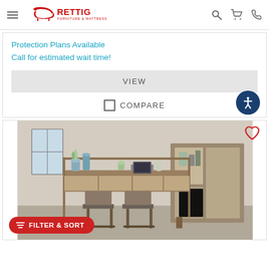[Figure (logo): Rettig Furniture & Mattress logo with hamburger menu, search, cart, and phone icons]
Protection Plans Available
Call for estimated wait time!
VIEW
COMPARE
[Figure (photo): Rustic wooden console/sofa bar table with open shelving and two upholstered bar stools, styled with vases, laptop, and decorative items, in a living room setting with a TV unit in background]
FILTER & SORT